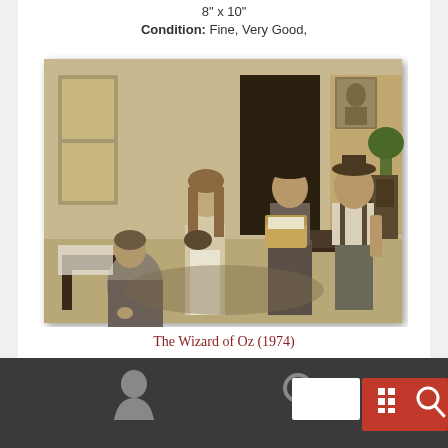8" x 10"
Condition: Fine, Very Good,
[Figure (photo): Black and white still photograph from The Wizard of Oz (1974) showing four people in a domestic interior scene. A seated woman, a young girl holding a small dog, a woman holding a wicker basket, and a man stand in a room with furniture, a painting on the wall, and a plant.]
The Wizard of Oz (1974)
[Figure (screenshot): Dark bottom navigation bar with a person icon on the left, a search/magnifier icon in the center, and on the right a white search input box next to a red button with a grid/filter icon and a search icon.]